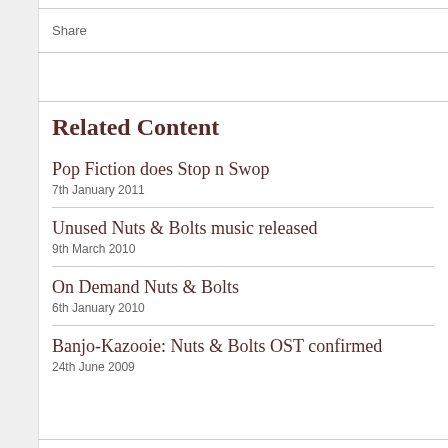Share
Related Content
Pop Fiction does Stop n Swop
7th January 2011
Unused Nuts & Bolts music released
9th March 2010
On Demand Nuts & Bolts
6th January 2010
Banjo-Kazooie: Nuts & Bolts OST confirmed
24th June 2009